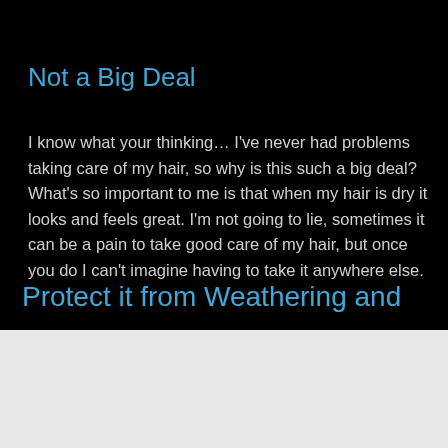Not a Big Deal
I know what your thinking… I've never had problems taking care of my hair, so why is this such a big deal? What's so important to me is that when my hair is dry it looks and feels great. I'm not going to lie, sometimes it can be a pain to take good care of my hair, but once you do I can't imagine having to take it anywhere else.
Protect it from Weathering and